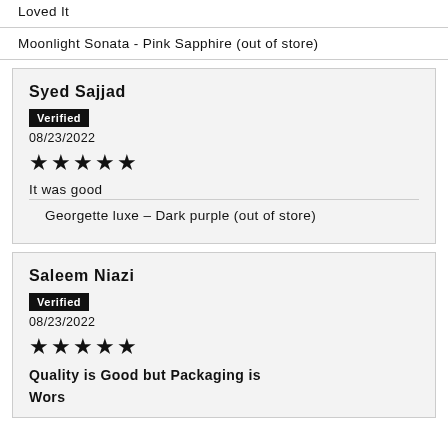Loved It
Moonlight Sonata - Pink Sapphire (out of store)
Syed Sajjad
Verified
08/23/2022
★★★★★
It was good
Georgette luxe – Dark purple (out of store)
Saleem Niazi
Verified
08/23/2022
★★★★★
Quality is Good but Packaging is Worse